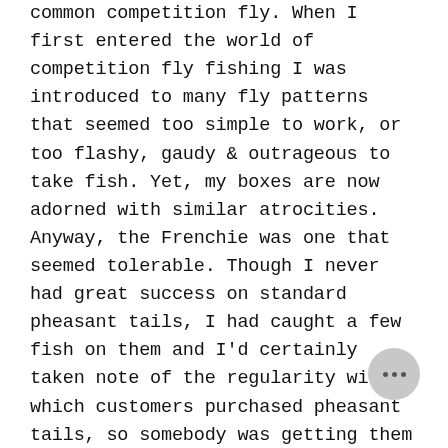common competition fly. When I first entered the world of competition fly fishing I was introduced to many fly patterns that seemed too simple to work, or too flashy, gaudy & outrageous to take fish. Yet, my boxes are now adorned with similar atrocities. Anyway, the Frenchie was one that seemed tolerable. Though I never had great success on standard pheasant tails, I had caught a few fish on them and I'd certainly taken note of the regularity with which customers purchased pheasant tails, so somebody was getting them to work. ;) The Frenchie style fly I first saw used natural pheasant tail fibers for the tail and body and had a hotspot behind the bead which varied in color. I simply found a color combination that consistently caught fish utilizing the standard "frenchie" theme. So, for clarification, I did not invent this style of fly. Egan's Frenchie is a variation on the original theme and the color combination sold by Umpqua is my most productive combo. I replaced the pheasant with Coq de Leon (for sheen, speckling and added du...), the natural pheasant tail body for dyed pheasant tail and used